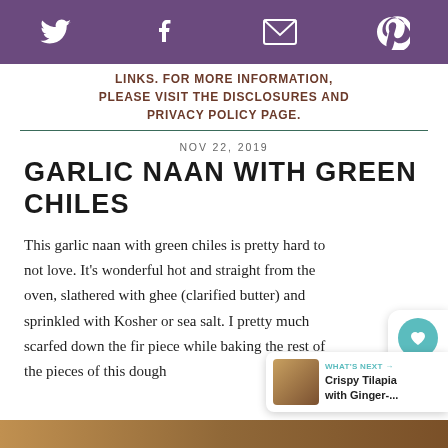Social share bar with Twitter, Facebook, Email, Pinterest icons
LINKS. FOR MORE INFORMATION, PLEASE VISIT THE DISCLOSURES AND PRIVACY POLICY PAGE.
NOV 22, 2019
GARLIC NAAN WITH GREEN CHILES
This garlic naan with green chiles is pretty hard to not love. It's wonderful hot and straight from the oven, slathered with ghee (clarified butter) and sprinkled with Kosher or sea salt. I pretty much scarfed down the first piece while baking the rest of the pieces of this dough
[Figure (other): What's Next widget showing Crispy Tilapia with Ginger- thumbnail]
[Figure (photo): Bottom strip showing food image]